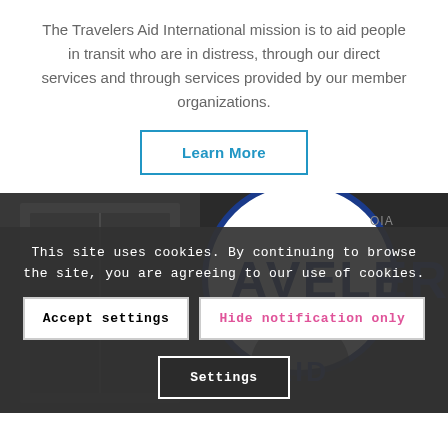The Travelers Aid International mission is to aid people in transit who are in distress, through our direct services and through services provided by our member organizations.
Learn More
[Figure (photo): Photograph showing a circular Travelers Aid logo sign with the text 'AVELER' visible in bold blue letters on a white circular background, with additional logo elements below, on a dark industrial background.]
This site uses cookies. By continuing to browse the site, you are agreeing to our use of cookies.
Accept settings
Hide notification only
Settings